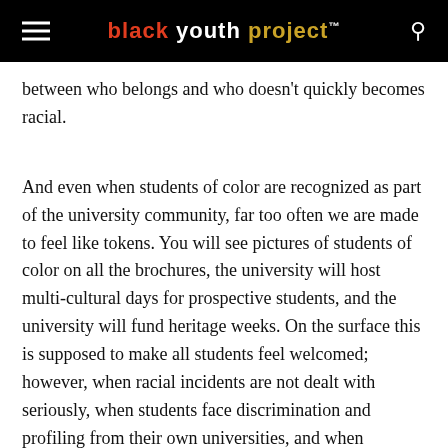black youth project™
between who belongs and who doesn't quickly becomes racial.
And even when students of color are recognized as part of the university community, far too often we are made to feel like tokens. You will see pictures of students of color on all the brochures, the university will host multi-cultural days for prospective students, and the university will fund heritage weeks. On the surface this is supposed to make all students feel welcomed; however, when racial incidents are not dealt with seriously, when students face discrimination and profiling from their own universities, and when administrators to publish, the jurisdiction of their